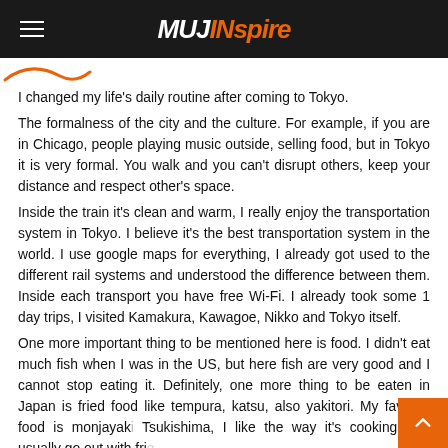MUJINspire
I changed my life's daily routine after coming to Tokyo.
The formalness of the city and the culture. For example, if you are in Chicago, people playing music outside, selling food, but in Tokyo it is very formal. You walk and you can't disrupt others, keep your distance and respect other's space.
Inside the train it's clean and warm, I really enjoy the transportation system in Tokyo. I believe it's the best transportation system in the world. I use google maps for everything, I already got used to the different rail systems and understood the difference between them. Inside each transport you have free Wi-Fi. I already took some 1 day trips, I visited Kamakura, Kawagoe, Nikko and Tokyo itself.
One more important thing to be mentioned here is food. I didn't eat much fish when I was in the US, but here fish are very good and I cannot stop eating it. Definitely, one more thing to be eaten in Japan is fried food like tempura, katsu, also yakitori. My favorite food is monjayaki Tsukishima, I like the way it's cooking. We usually go out with frie